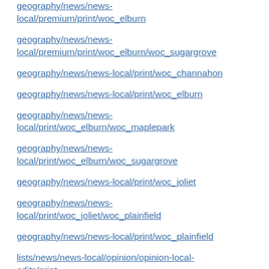geography/news/news-local/premium/print/woc_elburn
geography/news/news-local/premium/print/woc_elburn/woc_sugargrove
geography/news/news-local/print/woc_channahon
geography/news/news-local/print/woc_elburn
geography/news/news-local/print/woc_elburn/woc_maplepark
geography/news/news-local/print/woc_elburn/woc_sugargrove
geography/news/news-local/print/woc_joliet
geography/news/news-local/print/woc_joliet/woc_plainfield
geography/news/news-local/print/woc_plainfield
lists/news/news-local/opinion/opinion-local-edits/print
lists/news/news-local/premium/print